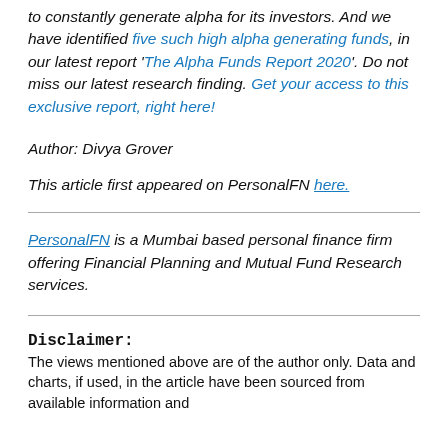to constantly generate alpha for its investors. And we have identified five such high alpha generating funds, in our latest report 'The Alpha Funds Report 2020'. Do not miss our latest research finding. Get your access to this exclusive report, right here!
Author: Divya Grover
This article first appeared on PersonalFN here.
PersonalFN is a Mumbai based personal finance firm offering Financial Planning and Mutual Fund Research services.
Disclaimer:
The views mentioned above are of the author only. Data and charts, if used, in the article have been sourced from available information and